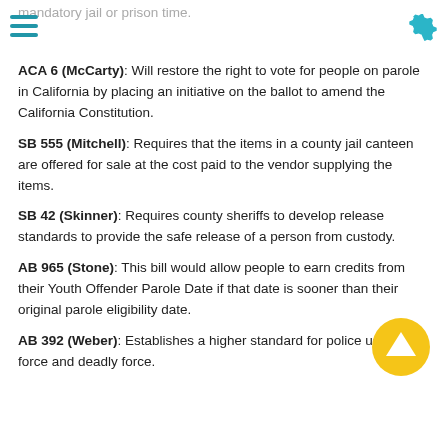mandatory jail or prison time.
ACA 6 (McCarty): Will restore the right to vote for people on parole in California by placing an initiative on the ballot to amend the California Constitution.
SB 555 (Mitchell): Requires that the items in a county jail canteen are offered for sale at the cost paid to the vendor supplying the items.
SB 42 (Skinner): Requires county sheriffs to develop release standards to provide the safe release of a person from custody.
AB 965 (Stone): This bill would allow people to earn credits from their Youth Offender Parole Date if that date is sooner than their original parole eligibility date.
AB 392 (Weber): Establishes a higher standard for police use of force and deadly force.